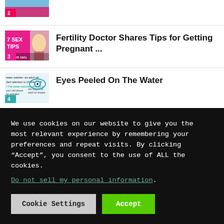[Figure (photo): Partial thumbnail image with number badge 2 at top of page (partially cropped)]
[Figure (photo): Thumbnail image with pink background showing '7 SEX TIPS' text and woman, with number badge 3]
Fertility Doctor Shares Tips for Getting Pregnant ...
[Figure (photo): Thumbnail image showing 'water watcher' safety card with eye illustration, numbered badge 4]
Eyes Peeled On The Water
We use cookies on our website to give you the most relevant experience by remembering your preferences and repeat visits. By clicking “Accept”, you consent to the use of ALL the cookies. Do not sell my personal information.
Cookie Settings
Accept